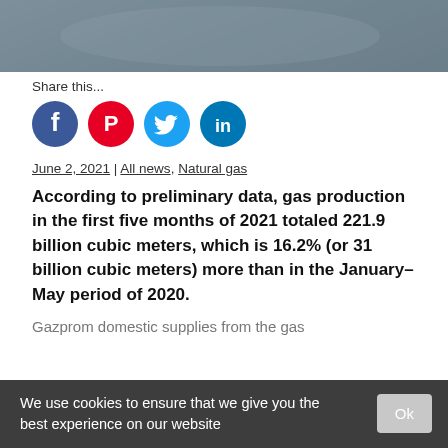[Figure (photo): Photo strip at top of webpage showing a worker in a dark uniform, industrial background]
Share this...
[Figure (infographic): Social media share icons: Facebook (blue circle), Pinterest (red circle), Twitter (light blue circle), LinkedIn (blue circle)]
June 2, 2021 | All news, Natural gas
According to preliminary data, gas production in the first five months of 2021 totaled 221.9 billion cubic meters, which is 16.2% (or 31 billion cubic meters) more than in the January–May period of 2020.
Gazprom domestic supplies from the gas
We use cookies to ensure that we give you the best experience on our website